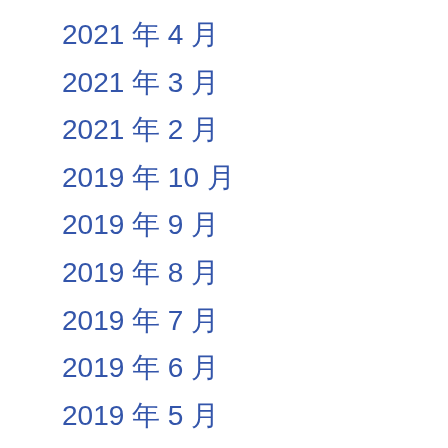2021 年 4 月
2021 年 3 月
2021 年 2 月
2019 年 10 月
2019 年 9 月
2019 年 8 月
2019 年 7 月
2019 年 6 月
2019 年 5 月
2019 年 4 月
2019 年 3 月